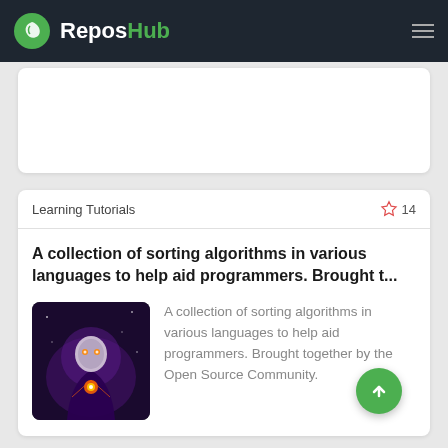ReposHub
Learning Tutorials
A collection of sorting algorithms in various languages to help aid programmers. Brought t...
[Figure (illustration): Fantasy-style character illustration used as thumbnail/avatar for the repository]
A collection of sorting algorithms in various languages to help aid programmers. Brought together by the Open Source Community.